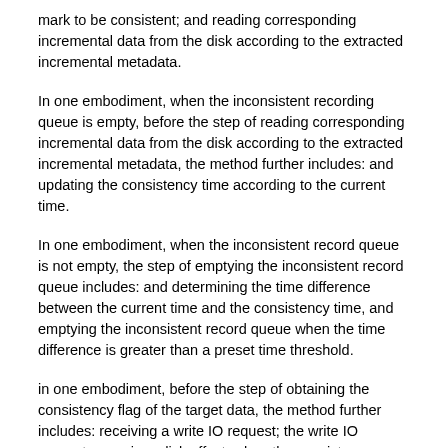mark to be consistent; and reading corresponding incremental data from the disk according to the extracted incremental metadata.
In one embodiment, when the inconsistent recording queue is empty, before the step of reading corresponding incremental data from the disk according to the extracted incremental metadata, the method further includes: and updating the consistency time according to the current time.
In one embodiment, when the inconsistent record queue is not empty, the step of emptying the inconsistent record queue includes: and determining the time difference between the current time and the consistency time, and emptying the inconsistent record queue when the time difference is greater than a preset time threshold.
in one embodiment, before the step of obtaining the consistency flag of the target data, the method further includes: receiving a write IO request; the write IO request comprises disk offset; when the consistency marks are consistent, determining a write address of a disk according to disk offset in the write IO request, and writing